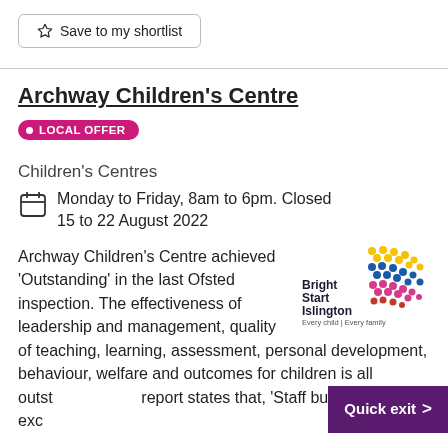Save to my shortlist
Archway Children's Centre
LOCAL OFFER
Children's Centres
Monday to Friday, 8am to 6pm. Closed 15 to 22 August 2022
Archway Children's Centre achieved 'Outstanding' in the last Ofsted inspection. The effectiveness of leadership and management, quality of teaching, learning, assessment, personal development, behaviour, welfare and outcomes for children is all outst… report states that, 'Staff build exceptionally
[Figure (logo): Bright Start Islington logo — colourful dot pattern with text 'Bright Start Islington Every child | Every family']
Quick exit >